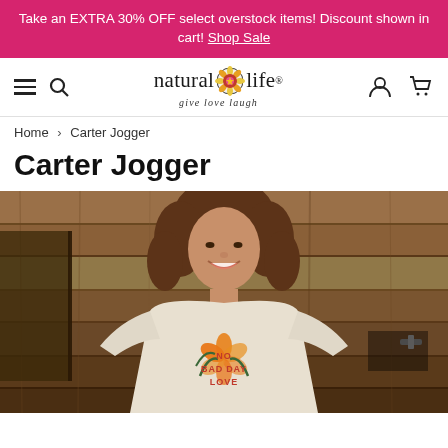Take an EXTRA 30% OFF select overstock items! Discount shown in cart! Shop Sale
[Figure (logo): Natural Life logo with decorative flower icon and tagline 'give love laugh']
Home › Carter Jogger
Carter Jogger
[Figure (photo): A smiling woman with curly brown hair wearing a cream/beige oversized t-shirt with a floral 'No Bad Day Love' graphic print, standing in front of wooden barn walls.]